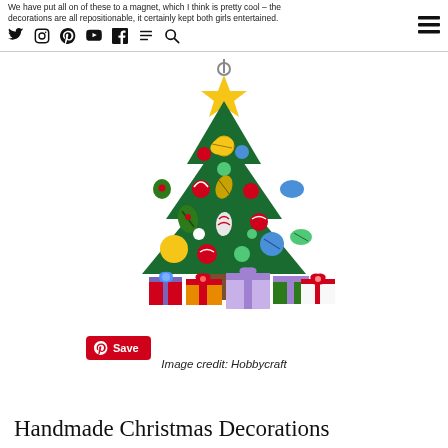We have put all on of these to a magnet, which I think is pretty cool – the decorations are all repositionable, it certainly kept both girls entertained.
[Figure (photo): A felt Christmas tree wall decoration with colorful ornament pieces (balls, baubles, teardrop shapes) and gift boxes arranged at its base. Yellow star at the top.]
Image credit: Hobbycraft
Handmade Christmas Decorations